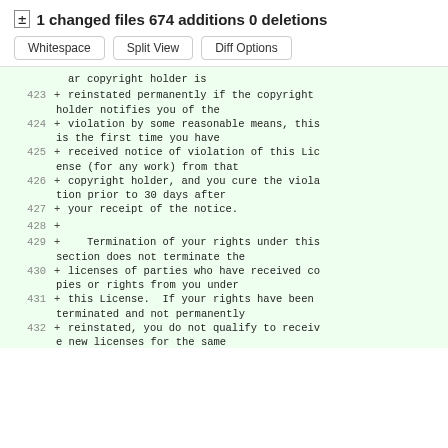± 1 changed files 674 additions 0 deletions
Whitespace  Split View  Diff Options
[Figure (screenshot): Git diff code view showing added lines 423-432 of a license file, with green background indicating additions. Lines show GPL license text about copyright reinstatement, violation notices, termination of rights, and license continuation.]